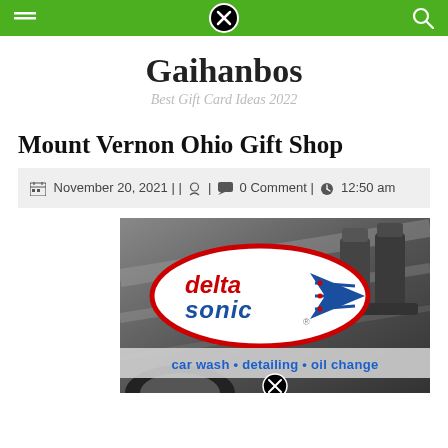Navigation bar with close button
Gaihanbos
Best Gift Card Ideas 2022
Mount Vernon Ohio Gift Shop
November 20, 2021 | |  |  0 Comment |  12:50 am
[Figure (photo): Delta Sonic car wash advertisement showing logo over a car engine background, with text 'car wash • detailing • oil change']